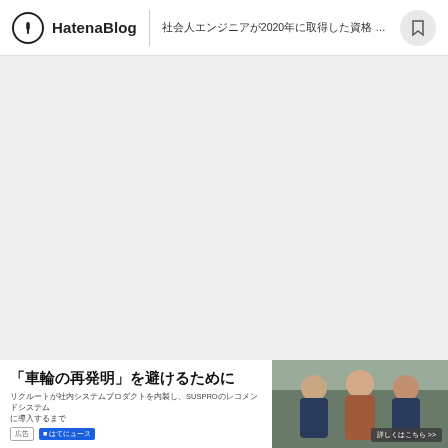Hatena Blog | 社会人エンジニアが2020年に取得した資格 100→51
[Figure (screenshot): Large light gray blank area representing main blog content loading area]
「車輪の再発明」を避けるために
リクルートが社内システムプロダクトを内製し、SUSPROのレコメンドシステムに導入するまで
詳しくはこちら >>